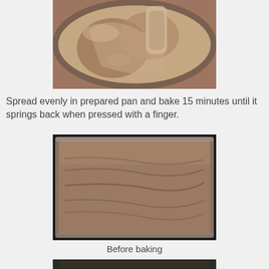[Figure (photo): Close-up view of chocolate cake batter in a glass mixing bowl being mixed with a spatula, showing a swirled brown batter texture.]
Spread evenly in prepared pan and bake 15 minutes until it springs back when pressed with a finger.
[Figure (photo): Chocolate cake batter spread evenly in a rectangular baking pan before baking, showing smooth brown batter with spatula marks.]
Before baking
[Figure (photo): Bottom portion of an image showing a baking pan being placed in an oven.]